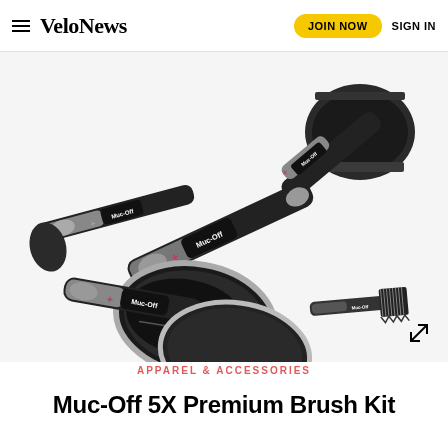VeloNews  JOIN NOW  SIGN IN
[Figure (photo): Multiple Muc-Off branded cleaning brushes with black and grey handles arranged on a white background. The brushes include wheel brushes, a frame brush, and a detail brush with the Muc-Off logo visible on the handles.]
APPAREL & ACCESSORIES
Muc-Off 5X Premium Brush Kit